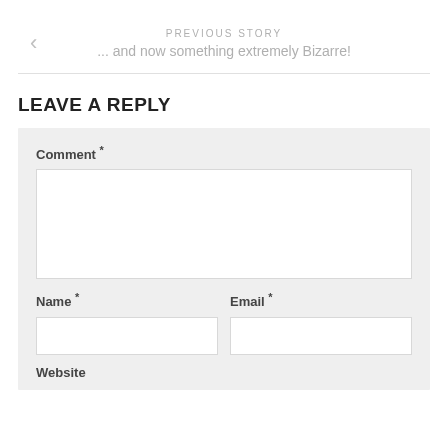PREVIOUS STORY
... and now something extremely Bizarre!
LEAVE A REPLY
Comment *
Name *
Email *
Website